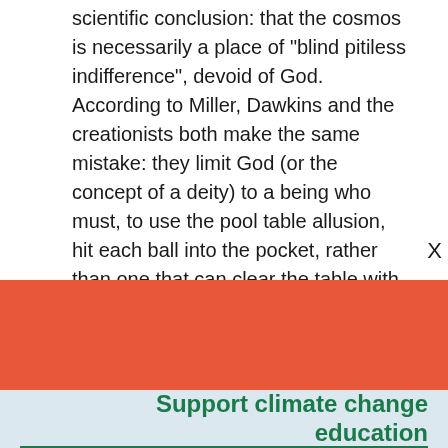scientific conclusion: that the cosmos is necessarily a place of "blind pitiless indifference", devoid of God. According to Miller, Dawkins and the creationists both make the same mistake: they limit God (or the concept of a deity) to a being who must, to use the pool table allusion, hit each ball into the pocket, rather than one that can clear the table with one shot. In other words, to use Miller's phrase
Support climate change education